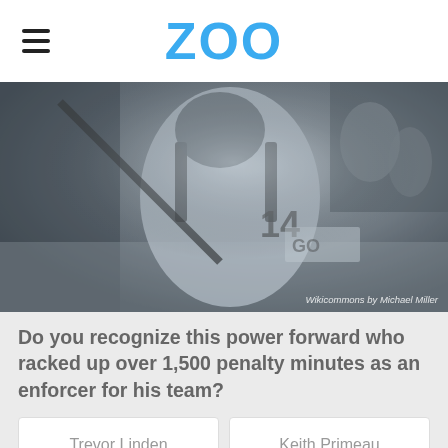ZOO
[Figure (photo): Grayscale photo of a hockey player wearing jersey number 14, in action on the ice. Players and crowd visible in background. Photo credit: Wikicommons by Michael Miller]
Wikicommons by Michael Miller
Do you recognize this power forward who racked up over 1,500 penalty minutes as an enforcer for his team?
Trevor Linden
Keith Primeau